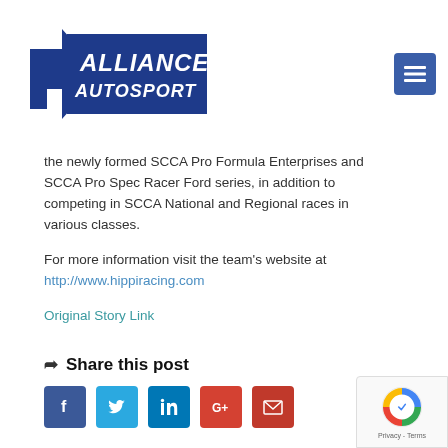[Figure (logo): Alliance Autosport logo in blue with arrow and italic text]
the newly formed SCCA Pro Formula Enterprises and SCCA Pro Spec Racer Ford series, in addition to competing in SCCA National and Regional races in various classes.
For more information visit the team's website at http://www.hippiracing.com
Original Story Link
Share this post
[Figure (infographic): Social sharing buttons: Facebook, Twitter, LinkedIn, Google+, Email]